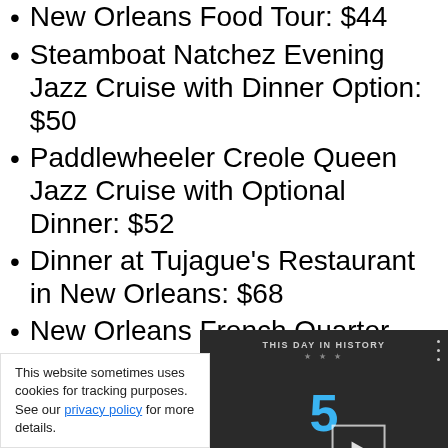New Orleans Food Tour: $44
Steamboat Natchez Evening Jazz Cruise with Dinner Option: $50
Paddlewheeler Creole Queen Jazz Cruise with Optional Dinner: $52
Dinner at Tujague's Restaurant in New Orleans: $68
New Orleans French Quarter Food Tour: $69
French Quarter Food Tour: $75
New Orleans' L[obscured] $75
French Quarter[obscured]
[Figure (screenshot): Video thumbnail overlay: 'THIS DAY IN HISTORY' with large number 5 in blue, AUGUST label, play button, mute icon, progress bar, fullscreen button.]
This website sometimes uses cookies for tracking purposes. See our privacy policy for more details.